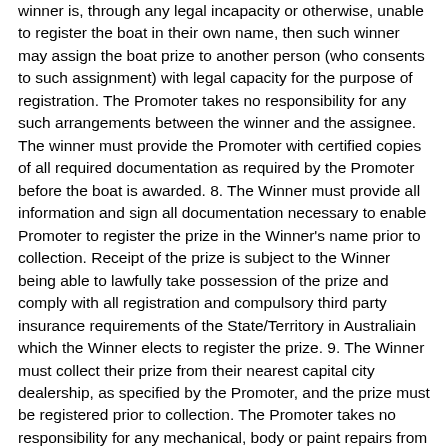winner is, through any legal incapacity or otherwise, unable to register the boat in their own name, then such winner may assign the boat prize to another person (who consents to such assignment) with legal capacity for the purpose of registration. The Promoter takes no responsibility for any such arrangements between the winner and the assignee. The winner must provide the Promoter with certified copies of all required documentation as required by the Promoter before the boat is awarded. 8. The Winner must provide all information and sign all documentation necessary to enable Promoter to register the prize in the Winner's name prior to collection. Receipt of the prize is subject to the Winner being able to lawfully take possession of the prize and comply with all registration and compulsory third party insurance requirements of the State/Territory in Australiain which the Winner elects to register the prize. 9. The Winner must collect their prize from their nearest capital city dealership, as specified by the Promoter, and the prize must be registered prior to collection. The Promoter takes no responsibility for any mechanical, body or paint repairs from the date and time of delivery. Comprehensive insurance, motor, trailer, petrol/fuel/diesel costs and any other ongoing costs are the responsibility of the winner. 10. The colour of the boat can be chosen by the winner subject to availability at time of redemption of prize. Any colour or licensing details for the boat used in the promotional material are representational only. 11. Prize must be taken as offered. The prize, or any unused portion of the prize, is not exchangeable or cannot be